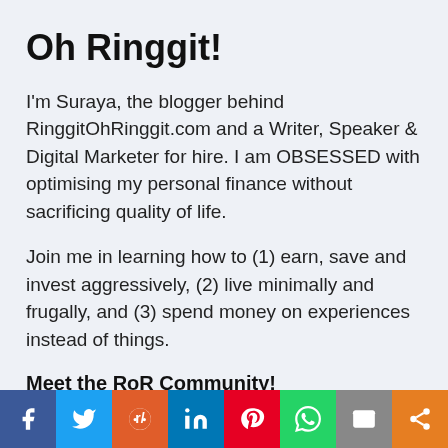Oh Ringgit!
I'm Suraya, the blogger behind RinggitOhRinggit.com and a Writer, Speaker & Digital Marketer for hire. I am OBSESSED with optimising my personal finance without sacrificing quality of life.
Join me in learning how to (1) earn, save and invest aggressively, (2) live minimally and frugally, and (3) spend money on experiences instead of things.
Meet the RoR Community!
Facebook | Twitter | Instagram |
[Figure (infographic): Social media sharing bar at the bottom with icons for Facebook, Twitter, Reddit, LinkedIn, Pinterest, WhatsApp, Email, and Share]